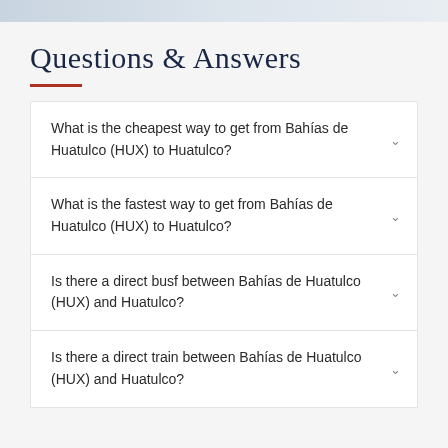Questions & Answers
What is the cheapest way to get from Bahías de Huatulco (HUX) to Huatulco?
What is the fastest way to get from Bahías de Huatulco (HUX) to Huatulco?
Is there a direct busf between Bahías de Huatulco (HUX) and Huatulco?
Is there a direct train between Bahías de Huatulco (HUX) and Huatulco?